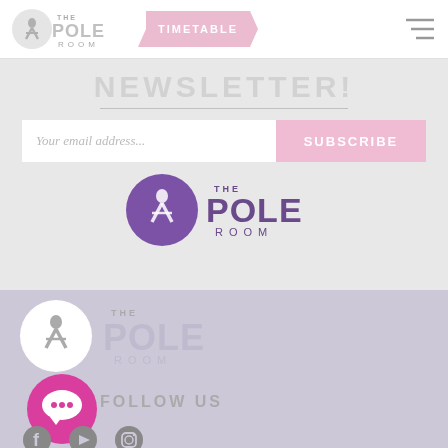[Figure (logo): The Pole Room logo with circular icon and text, plus TIMETABLE navigation button and hamburger menu in white header bar]
NEWSLETTER!
[Figure (logo): The Pole Room logo centered in newsletter section - purple circle with figure, POLE ROOM text]
[Figure (logo): The Pole Room footer logo - white circle with figure, POLE ROOM text on lavender background]
FOLLOW US
[Figure (illustration): Pink chat bubble icon, Facebook icon, YouTube icon, Instagram icon social media row]